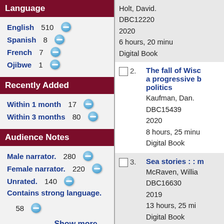Language
English 510
Spanish 8
French 7
Ojibwe 1
Recently Added
Within 1 month 17
Within 3 months 80
Audience Notes
Male narrator. 280
Female narrator. 220
Unrated. 140
Contains strong language. 58
Show more...
Subject
Holt, David.
DBC12220
2020
6 hours, 20 minu
Digital Book
2. The fall of Wisc a progressive b politics
Kaufman, Dan.
DBC15439
2020
8 hours, 25 minu
Digital Book
3. Sea stories : : m
McRaven, Willia
DBC16630
2019
13 hours, 25 min
Digital Book
4.